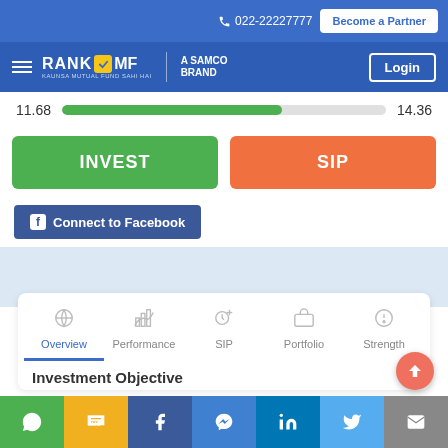022-22227777 | Become a Partner
[Figure (screenshot): RankMF - A Samco Brand logo with hamburger menu and Login button on blue navigation bar]
11.68  [progress bar]  14.36
INVEST
SIP
Connect to Facebook
Overview | Performance | SIP | Portfolio | Strength
Investment Objective
WhatsApp | SMS | Facebook | Messenger | LinkedIn | Twitter | Email